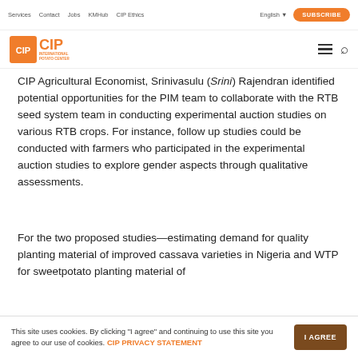Services  Contact  Jobs  KMHub  CIP Ethics  English  SUBSCRIBE
[Figure (logo): CIP International Potato Center logo with orange icon and text]
CIP Agricultural Economist, Srinivasulu (Srini) Rajendran identified potential opportunities for the PIM team to collaborate with the RTB seed system team in conducting experimental auction studies on various RTB crops. For instance, follow up studies could be conducted with farmers who participated in the experimental auction studies to explore gender aspects through qualitative assessments.
For the two proposed studies—estimating demand for quality planting material of improved cassava varieties in Nigeria and WTP for sweetpotato planting material of
This site uses cookies. By clicking "I agree" and continuing to use this site you agree to our use of cookies. CIP PRIVACY STATEMENT